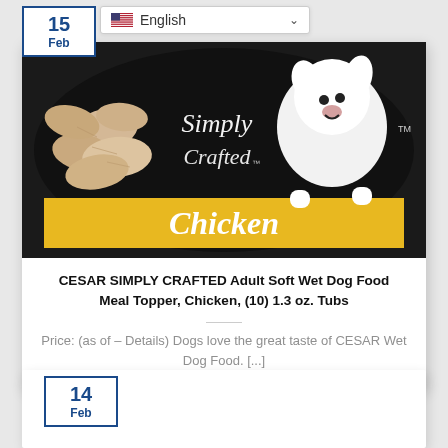[Figure (screenshot): Language selector dropdown showing US flag and 'English' with a chevron, overlaid on top-left of product card]
[Figure (photo): CESAR SIMPLY CRAFTED dog food product tub showing a white fluffy dog, chicken pieces, and 'Simply Crafted Chicken' branding on black and yellow background]
CESAR SIMPLY CRAFTED Adult Soft Wet Dog Food Meal Topper, Chicken, (10) 1.3 oz. Tubs
Price: (as of – Details) Dogs love the great taste of CESAR Wet Dog Food. [...]
15 Feb
14 Feb